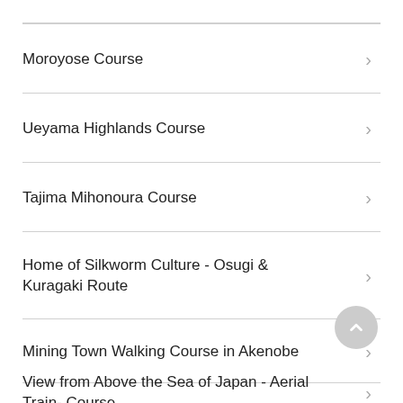Moroyose Course
Ueyama Highlands Course
Tajima Mihonoura Course
Home of Silkworm Culture - Osugi & Kuragaki Route
Mining Town Walking Course in Akenobe
View from Above the Sea of Japan - Aerial Train- Course